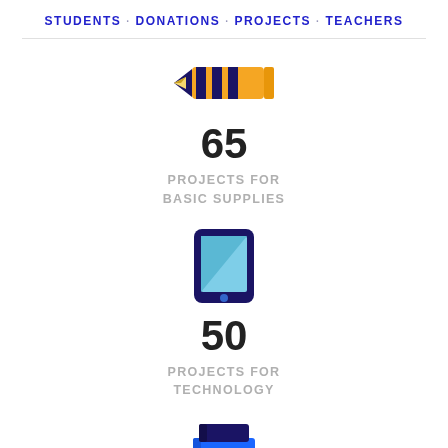STUDENTS · DONATIONS · PROJECTS · TEACHERS
[Figure (illustration): Pencil icon with yellow body and dark blue/purple stripes]
65
PROJECTS FOR BASIC SUPPLIES
[Figure (illustration): Tablet/iPad icon with dark navy border and light blue screen]
50
PROJECTS FOR TECHNOLOGY
[Figure (illustration): Stack of books icon in blue colors]